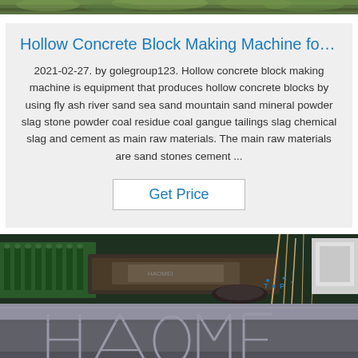[Figure (photo): Green foliage/plant photo strip at top of page]
Hollow Concrete Block Making Machine fo…
2021-02-27. by golegroup123. Hollow concrete block making machine is equipment that produces hollow concrete blocks by using fly ash river sand sea sand mountain sand mineral powder slag stone powder coal residue coal gangue tailings slag chemical slag and cement as main raw materials. The main raw materials are sand stones cement ...
Get Price
[Figure (photo): Industrial concrete block making machine equipment photo, with TOP badge overlay, and bottom section showing metal surface with engraved HAOMEI or similar logo]